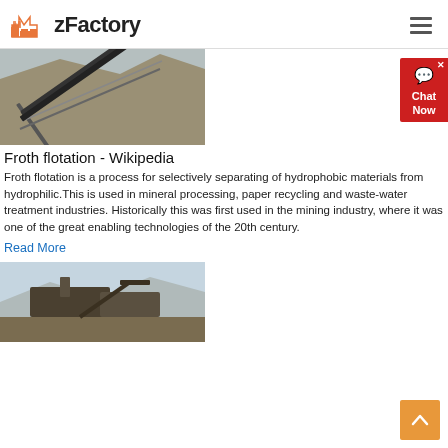zFactory
[Figure (photo): Conveyor belt system at a mining or quarry site with rocky terrain in the background]
Froth flotation - Wikipedia
Froth flotation is a process for selectively separating of hydrophobic materials from hydrophilic.This is used in mineral processing, paper recycling and waste-water treatment industries. Historically this was first used in the mining industry, where it was one of the great enabling technologies of the 20th century.
Read More
[Figure (photo): Industrial mining equipment and machinery at an outdoor mining site]